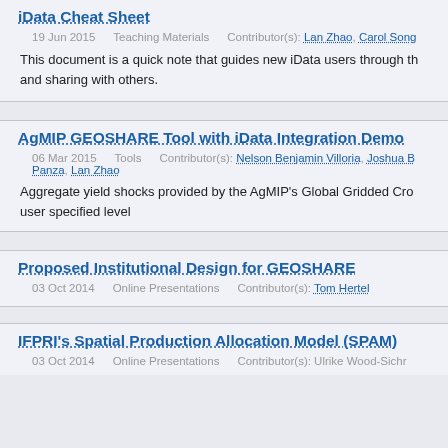iData Cheat Sheet
19 Jun 2015    Teaching Materials    Contributor(s): Lan Zhao, Carol Song
This document is a quick note that guides new iData users through the and sharing with others.
AgMIP GEOSHARE Tool with iData Integration Demo
06 Mar 2015    Tools    Contributor(s): Nelson Benjamin Villoria, Joshua B Panza, Lan Zhao
Aggregate yield shocks provided by the AgMIP's Global Gridded Crop user specified level
Proposed Institutional Design for GEOSHARE
03 Oct 2014    Online Presentations    Contributor(s): Tom Hertel
IFPRI's Spatial Production Allocation Model (SPAM)
03 Oct 2014    Online Presentations    Contributor(s): Ulrike Wood-Sichr